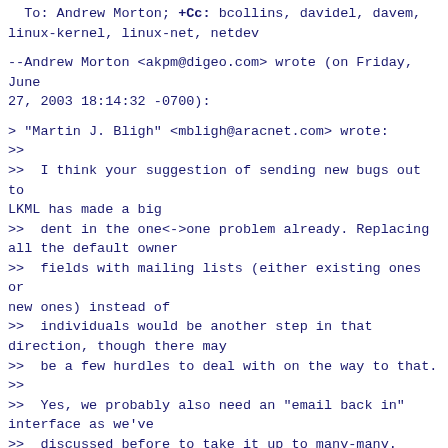To: Andrew Morton; +Cc: bcollins, davidel, davem, linux-kernel, linux-net, netdev
--Andrew Morton <akpm@digeo.com> wrote (on Friday, June 27, 2003 18:14:32 -0700):
> "Martin J. Bligh" <mbligh@aracnet.com> wrote:
>>
>>  I think your suggestion of sending new bugs out to LKML has made a big
>>  dent in the one<->one problem already. Replacing all the default owner
>>  fields with mailing lists (either existing ones or new ones) instead of
>>  individuals would be another step in that direction, though there may
>>  be a few hurdles to deal with on the way to that.
>>
>>  Yes, we probably also need an "email back in" interface as we've
>>  discussed before to take it up to many-many.
>
> Both these things would help heaps - the tracking system then
> becomes invisible, basically.  The best of both.  Can we make it so?
The answer to both is yes, but one's harder than the other ;-)